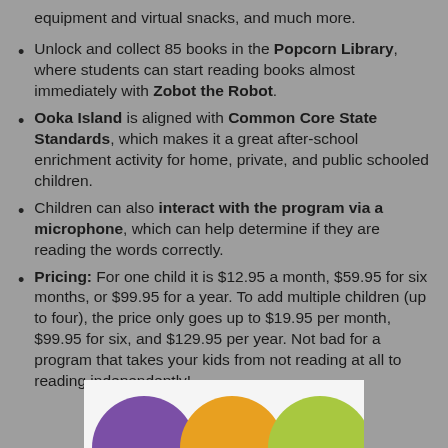equipment and virtual snacks, and much more.
Unlock and collect 85 books in the Popcorn Library, where students can start reading books almost immediately with Zobot the Robot.
Ooka Island is aligned with Common Core State Standards, which makes it a great after-school enrichment activity for home, private, and public schooled children.
Children can also interact with the program via a microphone, which can help determine if they are reading the words correctly.
Pricing: For one child it is $12.95 a month, $59.95 for six months, or $99.95 for a year. To add multiple children (up to four), the price only goes up to $19.95 per month, $99.95 for six, and $129.95 per year. Not bad for a program that takes your kids from not reading at all to reading independently!
[Figure (illustration): Partial view of colorful circles (purple, orange, yellow-green) at the bottom of the page on a white background.]